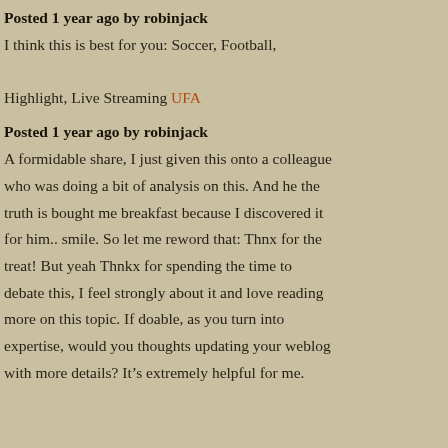Posted 1 year ago by robinjack
I think this is best for you: Soccer, Football, Highlight, Live Streaming UFA
Posted 1 year ago by robinjack
A formidable share, I just given this onto a colleague who was doing a bit of analysis on this. And he the truth is bought me breakfast because I discovered it for him.. smile. So let me reword that: Thnx for the treat! But yeah Thnkx for spending the time to debate this, I feel strongly about it and love reading more on this topic. If doable, as you turn into expertise, would you thoughts updating your weblog with more details? Itâs extremely helpful for me.